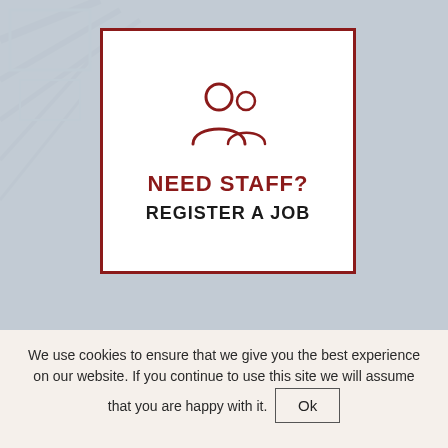[Figure (screenshot): A white card with a dark red border centered on a light blue-grey background. The card contains a people/staff icon (two person silhouettes outlined in dark red), the text 'NEED STAFF?' in dark red bold uppercase, and 'REGISTER A JOB' in black bold uppercase.]
We use cookies to ensure that we give you the best experience on our website. If you continue to use this site we will assume that you are happy with it. Ok